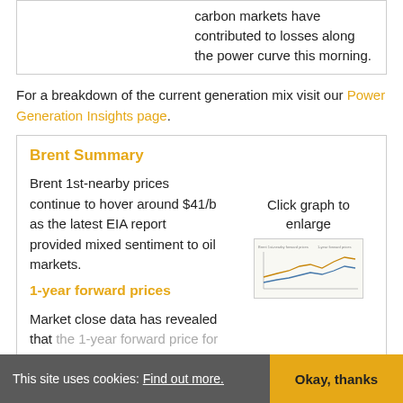carbon markets have contributed to losses along the power curve this morning.
For a breakdown of the current generation mix visit our Power Generation Insights page.
Brent Summary
Brent 1st-nearby prices continue to hover around $41/b as the latest EIA report provided mixed sentiment to oil markets.
Click graph to enlarge
1-year forward prices
Market close data has revealed that the 1-year forward price for both commercial gas & commercial
[Figure (screenshot): Small thumbnail of a line graph showing 1-year forward prices for Brent crude oil]
This site uses cookies: Find out more. Okay, thanks